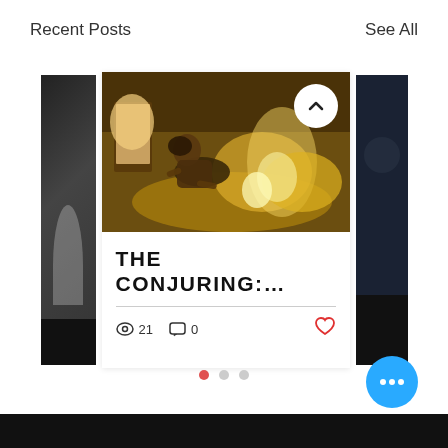Recent Posts
See All
[Figure (screenshot): A movie still showing a person crawling through splashing water in a dark room, from The Conjuring]
THE CONJURING:…
👁 21   💬 0   ♥
[Figure (other): Pagination dots: 3 dots, first one red/active]
[Figure (other): Blue circular FAB button with 3 white dots]